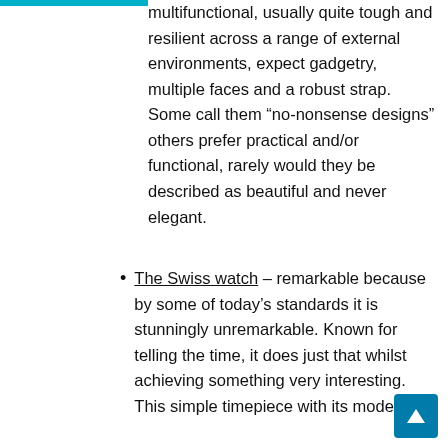multifunctional, usually quite tough and resilient across a range of external environments, expect gadgetry, multiple faces and a robust strap. Some call them “no-nonsense designs” others prefer practical and/or functional, rarely would they be described as beautiful and never elegant.
The Swiss watch – remarkable because by some of today’s standards it is stunningly unremarkable. Known for telling the time, it does just that whilst achieving something very interesting. This simple timepiece with its modestly